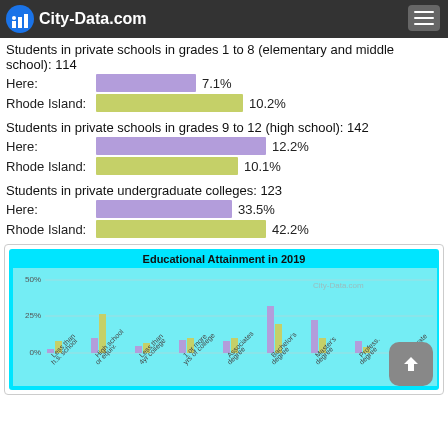City-Data.com
Students in private schools in grades 1 to 8 (elementary and middle school): 114
Here: 7.1%
Rhode Island: 10.2%
Students in private schools in grades 9 to 12 (high school): 142
Here: 12.2%
Rhode Island: 10.1%
Students in private undergraduate colleges: 123
Here: 33.5%
Rhode Island: 42.2%
[Figure (grouped-bar-chart): Educational Attainment in 2019]